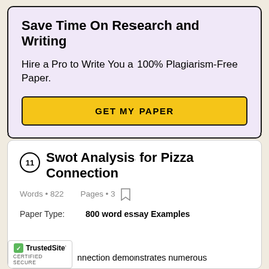Save Time On Research and Writing
Hire a Pro to Write You a 100% Plagiarism-Free Paper.
GET MY PAPER
11 Swot Analysis for Pizza Connection
Words • 822   Pages • 3
Paper Type:   800 word essay Examples
nnection demonstrates numerous